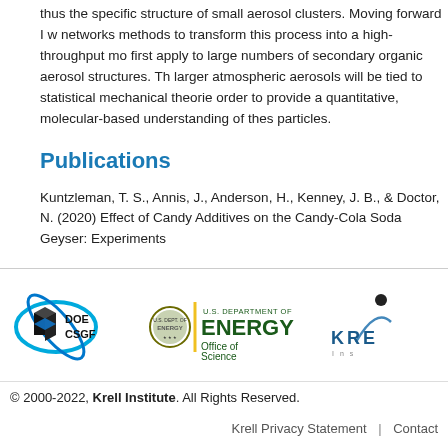thus the specific structure of small aerosol clusters. Moving forward I w networks methods to transform this process into a high-throughput mo first apply to large numbers of secondary organic aerosol structures. Th larger atmospheric aerosols will be tied to statistical mechanical theorie order to provide a quantitative, molecular-based understanding of thes particles.
Publications
Kuntzleman, T. S., Annis, J., Anderson, H., Kenney, J. B., & Doctor, N. (2020) Effect of Candy Additives on the Candy-Cola Soda Geyser: Experiments
[Figure (logo): DOE CSGF logo with blue orbital rings around a black cube icon and DOE CSGF text]
[Figure (logo): U.S. Department of Energy Office of Science logo with eagle emblem]
[Figure (logo): Krell Institute logo partial (KRE)]
© 2000-2022, Krell Institute. All Rights Reserved.
Krell Privacy Statement | Contact